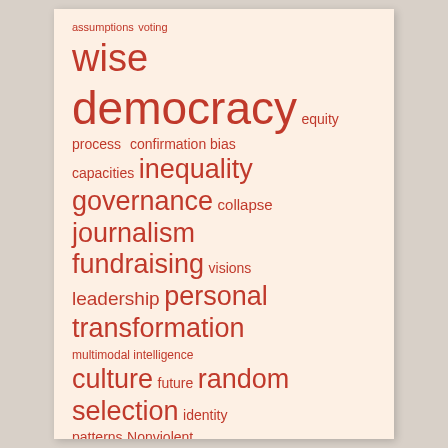[Figure (infographic): Word cloud with terms related to democracy, governance, and social concepts. All words in shades of red/coral on a light peach background. Words vary in size indicating frequency/importance. Terms include: assumptions, voting, wise, democracy, equity, process, confirmation bias, capacities, inequality, governance, collapse, journalism, fundraising, visions, leadership, personal transformation, multimodal intelligence, culture, future, random selection, identity, patterns, Nonviolent Communication, Co-Intelligence Institute, interaction, humility, USA, oppression, whole system, polarities, empathy, mutuality, power-with, wholeness]